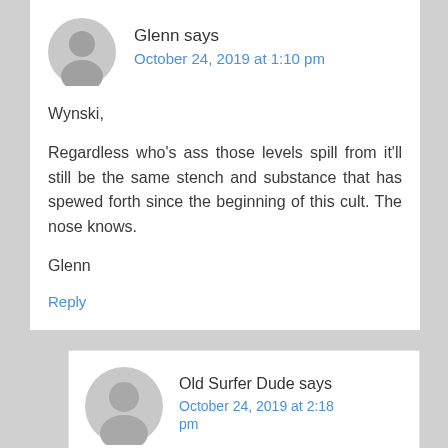Glenn says
October 24, 2019 at 1:10 pm
Wynski,

Regardless who’s ass those levels spill from it’ll still be the same stench and substance that has spewed forth since the beginning of this cult. The nose knows.

Glenn
Reply
Old Surfer Dude says
October 24, 2019 at 2:18 pm